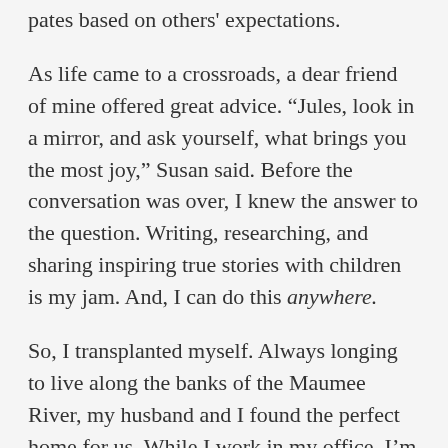pates based on others' expectations.
As life came to a crossroads, a dear friend of mine offered great advice. “Jules, look in a mirror, and ask yourself, what brings you the most joy,” Susan said. Before the conversation was over, I knew the answer to the question. Writing, researching, and sharing inspiring true stories with children is my jam. And, I can do this anywhere.
So, I transplanted myself. Always longing to live along the banks of the Maumee River, my husband and I found the perfect home for us. While I work in my office, I’m inspired by the sights and sounds of nature, from fox stalking the banks, to the screeches and squawks of six juvenile eagles who soar above. New writing opportunities continue to develop and present themselves, and my soul feels at peace. I’m